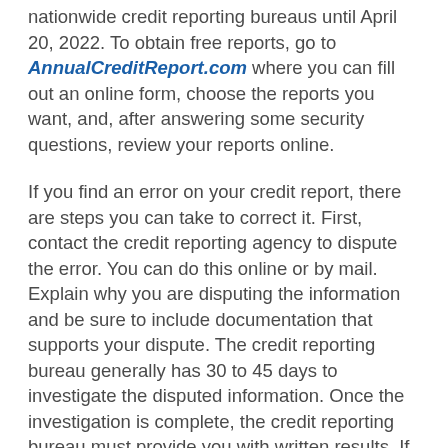nationwide credit reporting bureaus until April 20, 2022. To obtain free reports, go to AnnualCreditReport.com where you can fill out an online form, choose the reports you want, and, after answering some security questions, review your reports online.
If you find an error on your credit report, there are steps you can take to correct it. First, contact the credit reporting agency to dispute the error. You can do this online or by mail. Explain why you are disputing the information and be sure to include documentation that supports your dispute. The credit reporting bureau generally has 30 to 45 days to investigate the disputed information. Once the investigation is complete, the credit reporting bureau must provide you with written results. If the credit reporting bureau confirms that your credit report does contain errors, the information on your report must be removed or corrected.
If you do not agree with the credit bureau's investigation results, you can ask that a statement of the dispute be